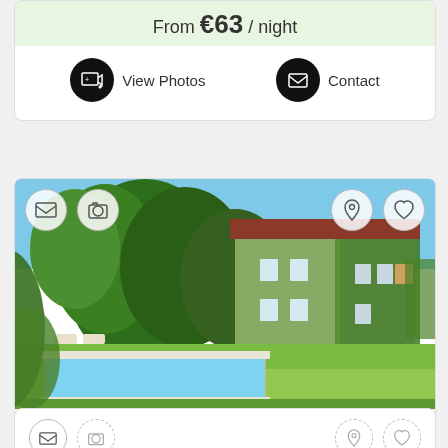From €63 / night
View Photos
Contact
[Figure (photo): Exterior photo of Domaine Des Catalpas, a ivy-covered stone building with red roof, green trees, swimming pool and lawn in foreground]
Domaine Des Catalpas
View Photos
Contact